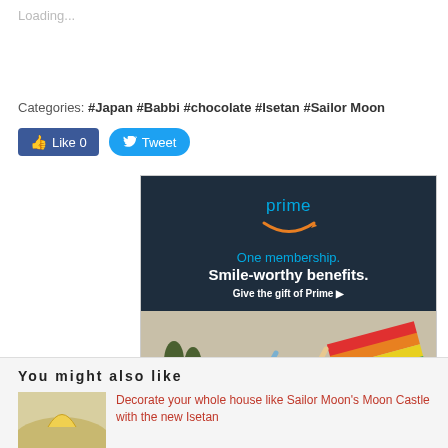Loading...
Categories: Japan #Babbi #chocolate #Isetan #Sailor Moon
[Figure (screenshot): Social media like and tweet buttons]
[Figure (infographic): Amazon Prime advertisement: 'prime / One membership. / Smile-worthy benefits. / Give the gift of Prime ▶' with a photo of people waving a rainbow flag from a car]
You might also like
Decorate your whole house like Sailor Moon's Moon Castle with the new Isetan